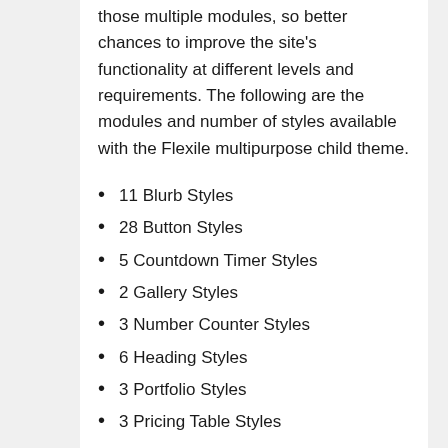those multiple modules, so better chances to improve the site's functionality at different levels and requirements. The following are the modules and number of styles available with the Flexile multipurpose child theme.
11 Blurb Styles
28 Button Styles
5 Countdown Timer Styles
2 Gallery Styles
3 Number Counter Styles
6 Heading Styles
3 Portfolio Styles
3 Pricing Table Styles
Sections